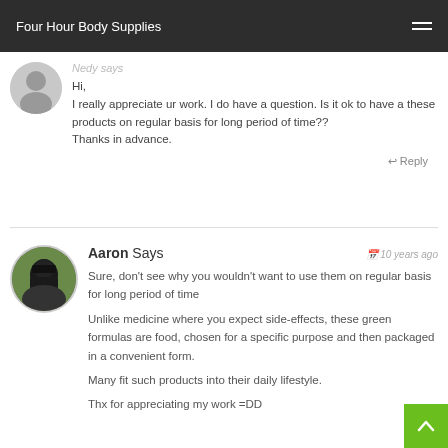Four Hour Body Supplies
Nedy says
Hi,
I really appreciate ur work. I do have a question. Is it ok to have a these products on regular basis for long period of time??
Thanks in advance.
Reply
Aaron Says  10 years ago
Sure, don't see why you wouldn't want to use them on regular basis for long period of time

Unlike medicine where you expect side-effects, these green formulas are food, chosen for a specific purpose and then packaged in a convenient form.

Many fit such products into their daily lifestyle.

Thx for appreciating my work =DD